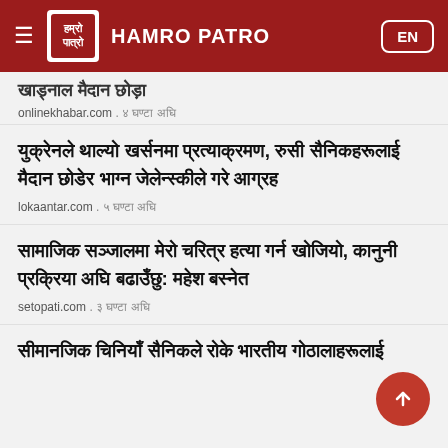HAMRO PATRO
onlinekhabar.com . ४ घण्टा अघि
युक्रेनले थाल्यो खर्सनमा प्रत्याक्रमण, रुसी सैनिकहरूलाई मैदान छोडेर भाग्न जेलेन्स्कीले गरे आग्रह
lokaantar.com . ५ घण्टा अघि
सामाजिक सञ्जालमा मेरो चरित्र हत्या गर्न खोजियो, कानुनी प्रक्रिया अघि बढाउँछु: महेश बस्नेत
setopati.com . ३ घण्टा अघि
सीमानजिक चिनियाँ सैनिकले रोके भारतीय गोठालाहरूलाई